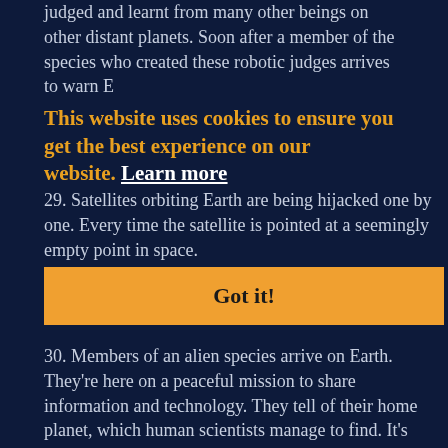judged and learnt from many other beings on other distant planets. Soon after a member of the species who created these robotic judges arrives to warn E...
29. Satellites orbiting Earth are being hijacked one by one. Every time the satellite is pointed at a seemingly empty point in space.
This website uses cookies to ensure you get the best experience on our website. Learn more
Got it!
30. Members of an alien species arrive on Earth. They're here on a peaceful mission to share information and technology. They tell of their home planet, which human scientists manage to find. It's soon discovered, unbeknown to the alien visitors, there's no life left on it.
31. An alien species begins to settle on planets and moons around Earth, essentially preventing humanity from engaging in space colonization and expansion. The aliens claim they're free to take these planets, humans hold no ownership over them.
32. A few members of an alien species arrive on Earth and plead for humanity's help. A war is being waged